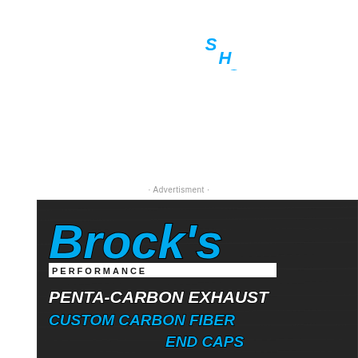[Figure (logo): Partial circular logo with blue stylized text 'SHOP NOW' arranged in an arc, visible at top of page, cut off at top edge]
· Advertisment ·
[Figure (illustration): Brock's Performance advertisement banner on dark brushed metal background. Shows 'Brock's' in large italic blue font with 'PERFORMANCE' in white bar below. Text reads 'PENTA-CARBON EXHAUST CUSTOM CARBON FIBER END CAPS' in white and blue italic bold text.]